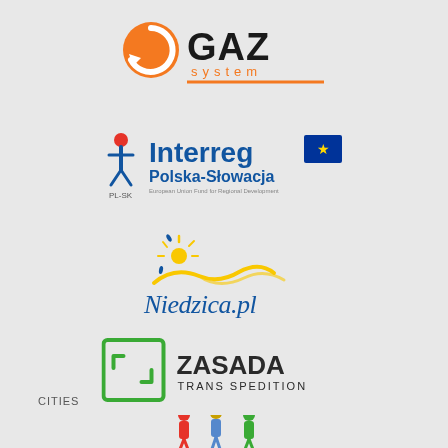[Figure (logo): GAZ System logo - orange circular arrow icon with GAZ in bold letters and 'system' in orange below with orange underline]
[Figure (logo): Interreg Polska-Słowacja logo with EU flag, person icon, and program text]
[Figure (logo): Niedzica.pl logo with stylized sun and blue handwritten text]
[Figure (logo): ZASADA TRANS SPEDITION logo with green bracket/arrow square icon]
CITIES
[Figure (logo): Cities logo with colorful figurine icons (partially visible at bottom)]